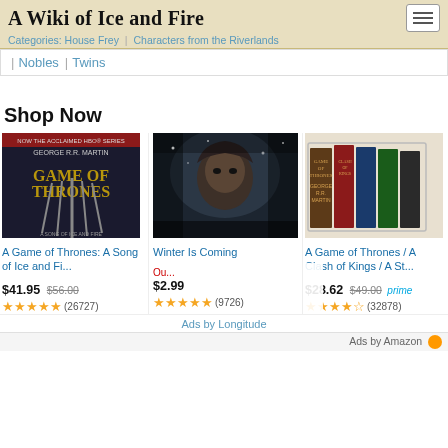A Wiki of Ice and Fire
Categories: House Frey | Characters from the Riverlands
Nobles | Twins
Shop Now
[Figure (photo): Game of Thrones book/soundtrack cover]
A Game of Thrones: A Song of Ice and Fi...
$41.95  $56.00  (26727)
[Figure (photo): Winter Is Coming - dark figure in snow]
Winter Is Coming
$2.99  (9726)
[Figure (photo): A Game of Thrones / A Clash of Kings / A St... boxed set]
A Game of Thrones / A Clash of Kings / A St...
$28.62  $49.00  (32878)
Ads by Longitude
Ads by Amazon